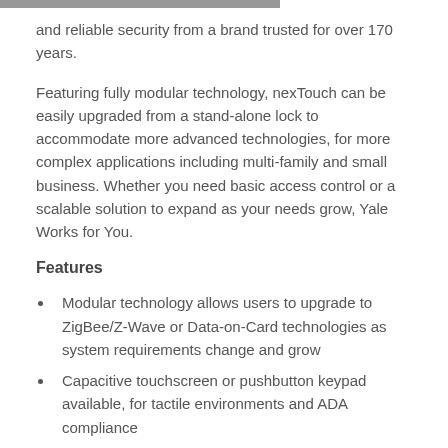and reliable security from a brand trusted for over 170 years.
Featuring fully modular technology, nexTouch can be easily upgraded from a stand-alone lock to accommodate more advanced technologies, for more complex applications including multi-family and small business. Whether you need basic access control or a scalable solution to expand as your needs grow, Yale Works for You.
Features
Modular technology allows users to upgrade to ZigBee/Z-Wave or Data-on-Card technologies as system requirements change and grow
Capacitive touchscreen or pushbutton keypad available, for tactile environments and ADA compliance